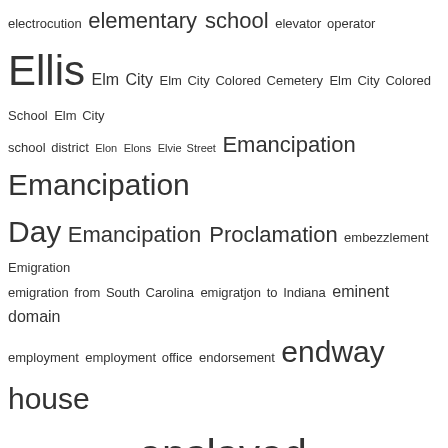[Figure (other): Tag cloud of index terms starting with 'el' through 'family', with font sizes indicating frequency/importance. Terms include: electrocution, elementary school, elevator operator, Ellis, Elm City, Elm City Colored Cemetery, Elm City Colored School, Elm City school district, Elon, Elons, Elvie Street, Emancipation, Emancipation Day, Emancipation Proclamation, embezzlement, Emigration, emigration from South Carolina, emigratjon to Indiana, eminent domain, employment, employment office, endorsement, endway house, England, English, Ennis, enslaved people, entertainer, Entertainment, entrepreneur, enumeration, epidemic, epilepsy, Episcopal church, Episcopal priest, Epps, Equal Justice Initiative, equipment, essay, estate, estate auction, estate records, estate sale, ethnic slur, Ethridge, Eubie Blake, Euell, eugenics, eulogy, Europe, European Theatre, evangelist, Evans, Evansdale community, Everett, excommunication, excursion, excursion train, exhibit, exhumation, exodus, Exoduster, expatriate, explosion, exposition, Exum, eye injury, Eyes on Main Street, F.A.A.M., Facebook, faculty, fair, fairground, Fair Labor Standards Act, Faison, Faison Street, Faithful, false arrest, false report, Family, family cemetery, family history]